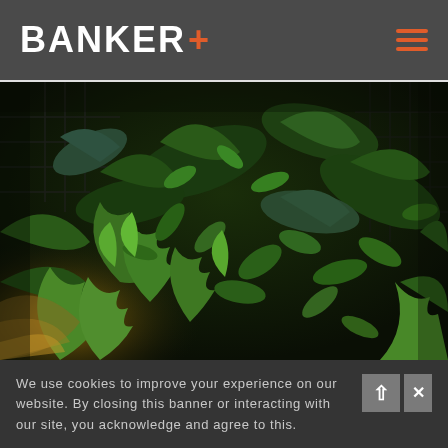BANKER+
[Figure (photo): Close-up photo of a vertical green wall/garden with various tropical plants and ferns mounted on a dark metal mesh structure, with warm golden light visible in the lower left corner.]
We use cookies to improve your experience on our website. By closing this banner or interacting with our site, you acknowledge and agree to this.